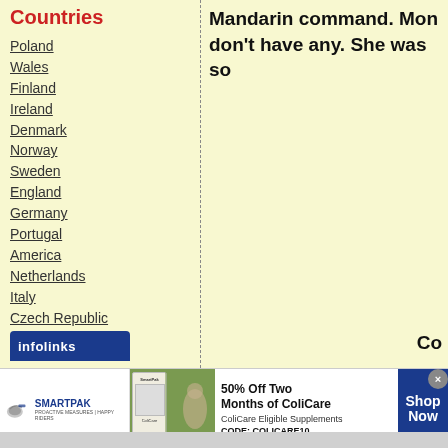Countries
Poland
Wales
Finland
Ireland
Denmark
Norway
Sweden
England
Germany
Portugal
America
Netherlands
Italy
Czech Republic
Mandarin command. Mon don't have any. She was so
Co
[Figure (screenshot): SmartPak advertisement banner: 50% Off Two Months of ColiCare, ColiCare Eligible Supplements, CODE: COLICARE10, with Shop Now button]